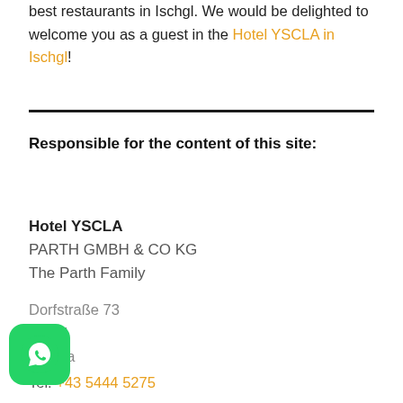best restaurants in Ischgl. We would be delighted to welcome you as a guest in the Hotel YSCLA in Ischgl!
Responsible for the content of this site:
Hotel YSCLA
PARTH GMBH & CO KG
The Parth Family

Dorfstraße 73
Ischgl
Austria
Tel. +43 5444 5275